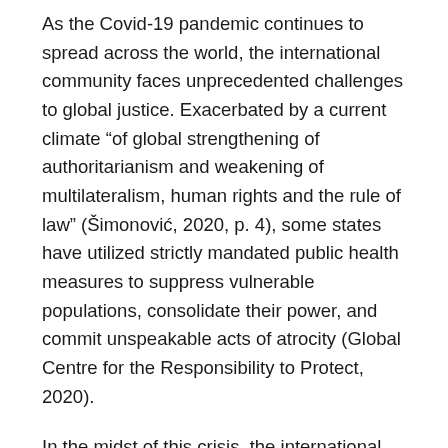As the Covid-19 pandemic continues to spread across the world, the international community faces unprecedented challenges to global justice. Exacerbated by a current climate “of global strengthening of authoritarianism and weakening of multilateralism, human rights and the rule of law” (Šimonović, 2020, p. 4), some states have utilized strictly mandated public health measures to suppress vulnerable populations, consolidate their power, and commit unspeakable acts of atrocity (Global Centre for the Responsibility to Protect, 2020).
In the midst of this crisis, the international justice mechanisms designed to combat such impunity are seemingly at a standstill. Caught between their mandates and the need to stop the virus, the courts can only offer a limited range of responses. The International Court of Justice (ICJ) grapples with questions of jurisdiction while using videoconferencing to handle procedural issues (ICJ,